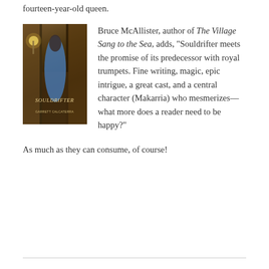fourteen-year-old queen.
[Figure (photo): Book cover of 'Souldrifter' by Garrett Calcaterra, showing a cloaked figure in a dark alleyway with a glowing lamp]
Bruce McAllister, author of The Village Sang to the Sea, adds, "Souldrifter meets the promise of its predecessor with royal trumpets. Fine writing, magic, epic intrigue, a great cast, and a central character (Makarria) who mesmerizes—what more does a reader need to be happy?"
As much as they can consume, of course!